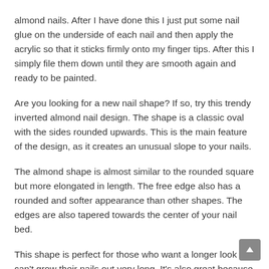almond nails. After I have done this I just put some nail glue on the underside of each nail and then apply the acrylic so that it sticks firmly onto my finger tips. After this I simply file them down until they are smooth again and ready to be painted.
Are you looking for a new nail shape? If so, try this trendy inverted almond nail design. The shape is a classic oval with the sides rounded upwards. This is the main feature of the design, as it creates an unusual slope to your nails.
The almond shape is almost similar to the rounded square but more elongated in length. The free edge also has a rounded and softer appearance than other shapes. The edges are also tapered towards the center of your nail bed.
This shape is perfect for those who want a longer look but can't grow their nails out very long. It's also great because it helps to create the illusion of longer fingers, which is great if you have short fingers about the outer end.